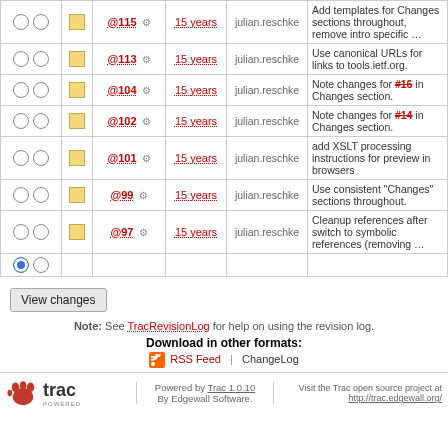|  |  |  | Rev | Age | Author | Log Message |
| --- | --- | --- | --- | --- | --- | --- |
| ○ | ○ | ■ | @115 ⚙ | 15 years | julian.reschke | Add templates for Changes sections throughout, remove intro specific … |
| ○ | ○ | ■ | @113 ⚙ | 15 years | julian.reschke | Use canonical URLs for links to tools.ietf.org. |
| ○ | ○ | ■ | @104 ⚙ | 15 years | julian.reschke | Note changes for #16 in Changes section. |
| ○ | ○ | ■ | @102 ⚙ | 15 years | julian.reschke | Note changes for #14 in Changes section. |
| ○ | ○ | ■ | @101 ⚙ | 15 years | julian.reschke | add XSLT processing instructions for preview in browsers |
| ○ | ○ | ■ | @99 ⚙ | 15 years | julian.reschke | Use consistent "Changes" sections throughout. |
| ○ | ○ | ■ | @97 ⚙ | 15 years | julian.reschke | Cleanup references after switch to symbolic references (removing … |
| ● | ○ |  |  |  |  |  |
View changes
Note: See TracRevisionLog for help on using the revision log.
Download in other formats: RSS Feed | ChangeLog
Powered by Trac 1.0.10 By Edgewall Software. Visit the Trac open source project at http://trac.edgewall.org/